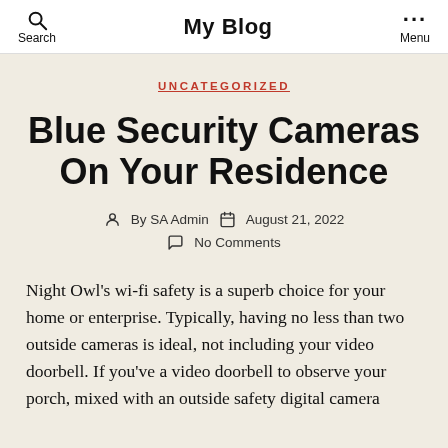Search   My Blog   Menu
UNCATEGORIZED
Blue Security Cameras On Your Residence
By SA Admin   August 21, 2022   No Comments
Night Owl's wi-fi safety is a superb choice for your home or enterprise. Typically, having no less than two outside cameras is ideal, not including your video doorbell. If you've a video doorbell to observe your porch, mixed with an outside safety digital camera